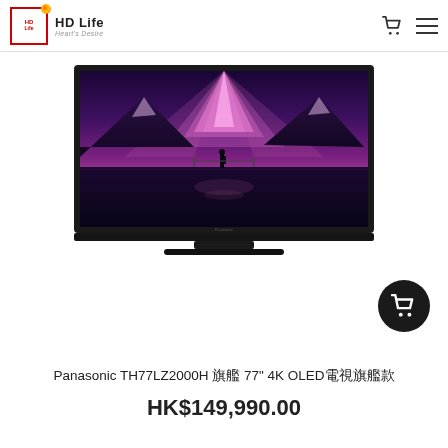HD Life — HD Life Heart's Desire
[Figure (photo): Panasonic TH77LZ2000H OLED TV product photo showing a large black flat-screen TV displaying a scenic landscape with purple/pink aurora-like sky, mountains, and a person standing on a frozen lake. TV is on a black stand.]
Panasonic TH77LZ2000H 旗艦 77" 4K OLED電視旗艦款
HK$149,990.00